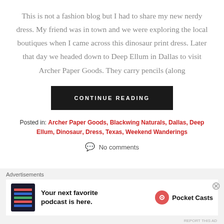This is not a fashion blog but I had to share my new nerdy dress. My friend was in town and we were exploring the local boutiques when I came across this dinosaur print dress. Later that day we headed down to Deep Ellum in Dallas to visit Archer Paper Goods. They carry pencils (along
CONTINUE READING
Posted in: Archer Paper Goods, Blackwing Naturals, Dallas, Deep Ellum, Dinosaur, Dress, Texas, Weekend Wanderings
No comments
Advertisements
[Figure (infographic): Pocket Casts advertisement banner: app screenshot on dark background, text 'Your next favorite podcast is here.' with Pocket Casts logo]